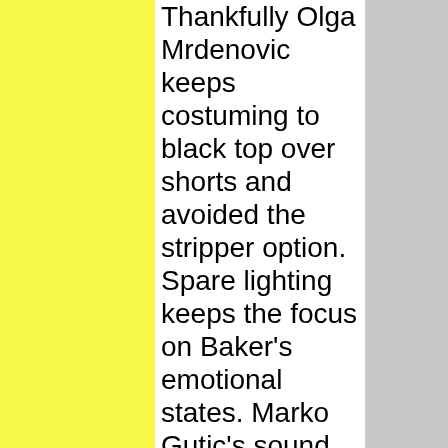Thankfully Olga Mrdenovic keeps costuming to black top over shorts and avoided the stripper option. Spare lighting keeps the focus on Baker's emotional states. Marko Gutic's sound design uses a piano/orchestra score interspersed with Baker's songs and interviews. In this portrait, Jung concentrates on Baker's heyday in Paris before and after WWII. She leaves out the social activism thread that ran through St. Louis native's career but blossomed in later life, particularly back in America. This